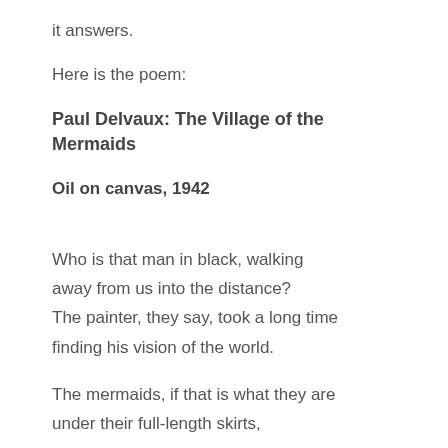it answers.
Here is the poem:
Paul Delvaux: The Village of the Mermaids
Oil on canvas, 1942
Who is that man in black, walking
away from us into the distance?
The painter, they say, took a long time
finding his vision of the world.
The mermaids, if that is what they are
under their full-length skirts,